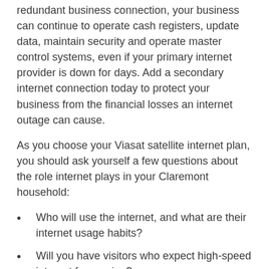redundant business connection, your business can continue to operate cash registers, update data, maintain security and operate master control systems, even if your primary internet provider is down for days. Add a secondary internet connection today to protect your business from the financial losses an internet outage can cause.
As you choose your Viasat satellite internet plan, you should ask yourself a few questions about the role internet plays in your Claremont household:
Who will use the internet, and what are their internet usage habits?
Will you have visitors who expect high-speed internet for gaming?
Are you using internet to stream TV shows and movies?
For maximum enjoyment of your Viasat internet system, order the plan or bundle that will consistently meet the